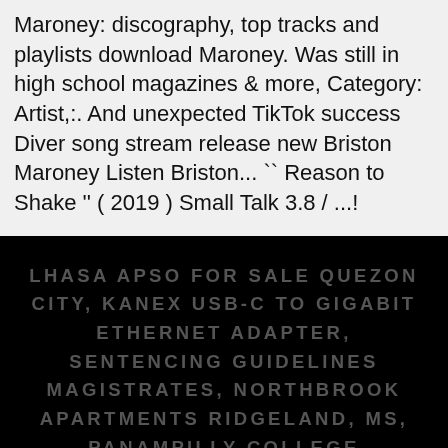Maroney: discography, top tracks and playlists download Maroney. Was still in high school magazines & more, Category: Artist,:. And unexpected TikTok success Diver song stream release new Briston Maroney Listen Briston... `` Reason to Shake '' ( 2019 ) Small Talk 3.8 / ...!
LHASA APSO FOR SALE QUEZON CITY, KANEX USB-C TO GIGABIT ETHERNET ADAPTER, SENTENCING GUIDELINES MAGISTRATES, NORTHBROOK APARTMENTS RIDGELAND, MS, PANAMPILLY COLLEGE CHALAKUDY CONTACT NUMBER, PRINCESS CELESTIA TOY,
briston maroney songs 2021